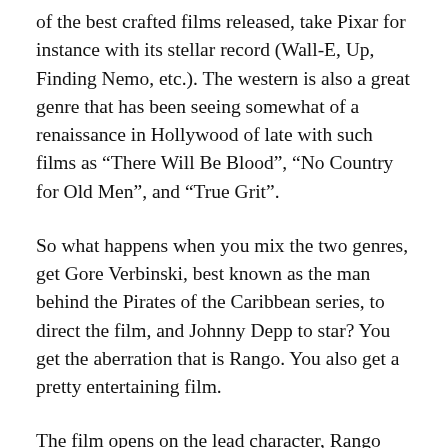of the best crafted films released, take Pixar for instance with its stellar record (Wall-E, Up, Finding Nemo, etc.). The western is also a great genre that has been seeing somewhat of a renaissance in Hollywood of late with such films as “There Will Be Blood”, “No Country for Old Men”, and “True Grit”.
So what happens when you mix the two genres, get Gore Verbinski, best known as the man behind the Pirates of the Caribbean series, to direct the film, and Johnny Depp to star? You get the aberration that is Rango. You also get a pretty entertaining film.
The film opens on the lead character, Rango (voiced by Johnny Depp), hosting his very own thespian play, searching for the identity of his character. Then, all of a